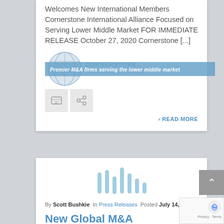Welcomes New International Members Cornerstone International Alliance Focused on Serving Lower Middle Market FOR IMMEDIATE RELEASE October 27, 2020 Cornerstone [...]
[Figure (logo): Cornerstone International Alliance logo with globe graphic and blue banner text 'Premier M&A firms serving the lower middle market']
READ MORE
By Scott Bushkie In Press Releases Posted July 14, 2020
New Global M&A Alliance Focused